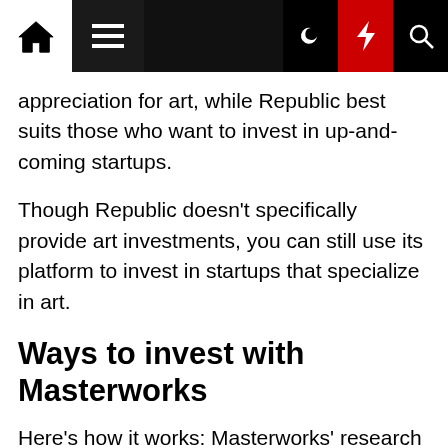[Navigation bar with home, menu, moon, bolt, and search icons]
appreciation for art, while Republic best suits those who want to invest in up-and-coming startups.
Though Republic doesn't specifically provide art investments, you can still use its platform to invest in startups that specialize in art.
Ways to invest with Masterworks
Here's how it works: Masterworks' research team uses proprietary data to pinpoint the best artist markets. Its team then finds art pieces and purchases them. Once purchased, Masterworks collaborates with the SEC to get the art pieces securitized (this allows anyone to buy shares of the works). In other words, it converts artwork into securities that anyone can purchase.